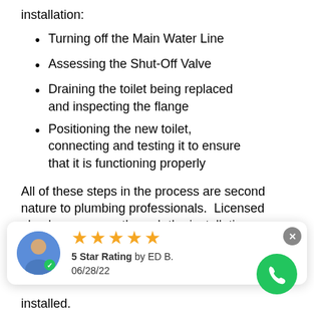installation:
Turning off the Main Water Line
Assessing the Shut-Off Valve
Draining the toilet being replaced and inspecting the flange
Positioning the new toilet, connecting and testing it to ensure that it is functioning properly
All of these steps in the process are second nature to plumbing professionals.  Licensed plumbers can run through the installation efficiently and handle any problems that present themselves along the way.  Call Howell
[Figure (infographic): Review card overlay showing 5 star rating by ED B. on 06/28/22, with avatar icon and phone call button]
installed.